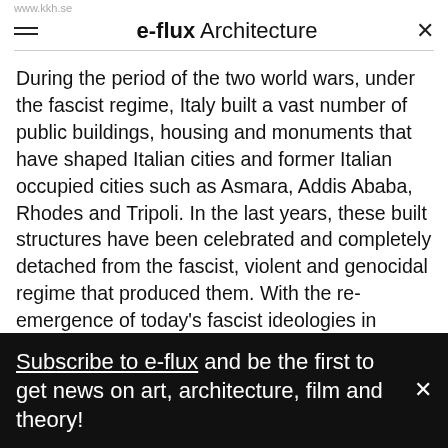www.kkh.se
e-flux Architecture
During the period of the two world wars, under the fascist regime, Italy built a vast number of public buildings, housing and monuments that have shaped Italian cities and former Italian occupied cities such as Asmara, Addis Ababa, Rhodes and Tripoli. In the last years, these built structures have been celebrated and completely detached from the fascist, violent and genocidal regime that produced them. With the re-emergence of today's fascist ideologies in Europe—and the arrival of populations from north and east Africa—it becomes urgent to ask: what kind of heritage is the fascist-colonial
Subscribe to e-flux and be the first to get news on art, architecture, film and theory!